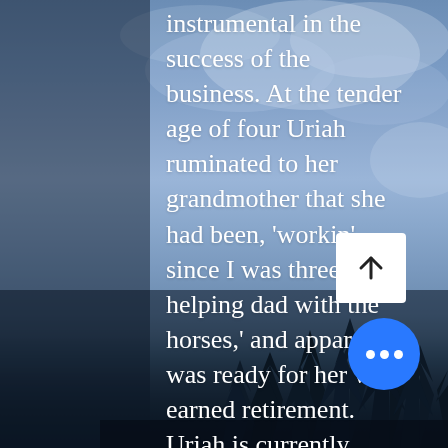[Figure (photo): Background photo of a dramatic sky with blue and purple dusk clouds, dark tree silhouettes at the bottom, and a dark left column. Overlaid with white text, a white square scroll-to-top button with an upward arrow, and a blue circular more-options button with three white dots.]
instrumental in the success of the business. At the tender age of four Uriah ruminated to her grandmother that she had been, 'workin' since I was three helping dad with the horses,' and apparently was ready for her well earned retirement. Uriah is currently attending the Imaging Technician program at Wenatchee Community College. On breaks from school she still works in the shop, trains horses, and competes in barrel racing and roping events whenever possible. She has also spent many a night rounding up cattle who felt th... to jump the fences and take a turn a... the neighborhood. Uriah is also an excellent hand at doctoring anima... field and a very sweet, patient perso...